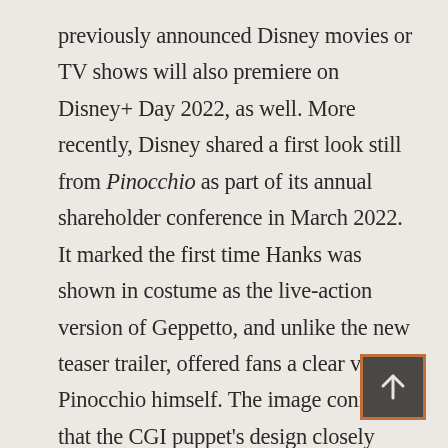previously announced Disney movies or TV shows will also premiere on Disney+ Day 2022, as well. More recently, Disney shared a first look still from Pinocchio as part of its annual shareholder conference in March 2022. It marked the first time Hanks was shown in costume as the live-action version of Geppetto, and unlike the new teaser trailer, offered fans a clear view of Pinocchio himself. The image confirmed that the CGI puppet's design closely matches that of his traditionally animated counterpart, sporting similar facial features and clothing.